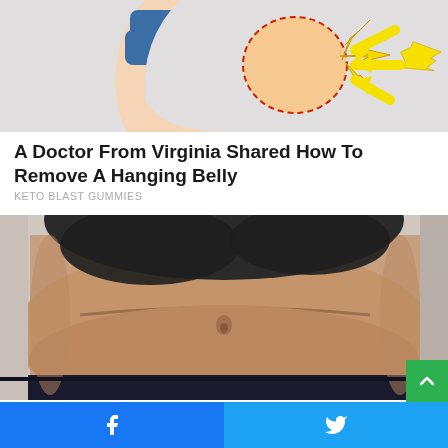[Figure (illustration): Medical illustration showing a side profile of a person's belly/hip area with a bulge highlighted by dashed circle and yellow arrows pointing to it, on a gray background]
A Doctor From Virginia Shared How To Remove A Hanging Belly
KETO BLAST GUMMIES
[Figure (photo): Close-up photo of an overweight person's midsection/belly, showing hanging belly fat, wearing dark shorts/pants, against a light background]
Facebook share button | Twitter share button